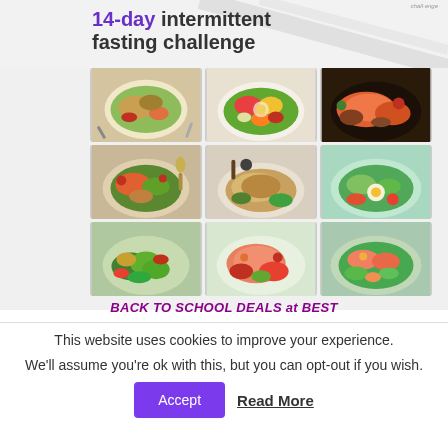[Figure (photo): 14-day intermittent fasting challenge: title with purple '14-day' text and a 3x3 grid of healthy food bowl photos]
BACK TO SCHOOL DEALS at BEST
This website uses cookies to improve your experience.
We'll assume you're ok with this, but you can opt-out if you wish.
Accept  Read More